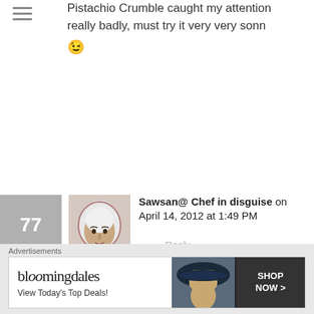Pistachio Crumble caught my attention really badly, must try it very very sonn 😉
77
[Figure (photo): Avatar photo of Sawsan, a woman wearing a white hijab and floral scarf]
Sawsan@ Chef in disguise on April 14, 2012 at 1:49 PM
Reply
Like
Hello Tanja
Thank you so much for stopping by and I am glad you enjoyed the round up.
Advertisements
[Figure (screenshot): Bloomingdales advertisement: bloomingdales logo, 'View Today's Top Deals!', woman with wide-brim hat, SHOP NOW > button]